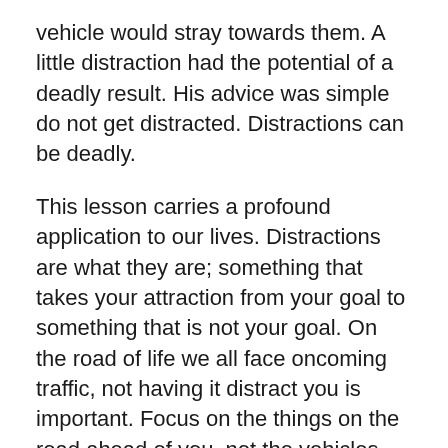vehicle would stray towards them. A little distraction had the potential of a deadly result. His advice was simple do not get distracted. Distractions can be deadly.
This lesson carries a profound application to our lives. Distractions are what they are; something that takes your attraction from your goal to something that is not your goal. On the road of life we all face oncoming traffic, not having it distract you is important. Focus on the things on the road ahead of you, not the vehicles going the opposite direction.
In Numbers 14 there is the account of the twelve spies that went in to the Promise Land to spy it out and give a report. Ten spies saw the problems, while Joshua and Caleb saw the promises. Joshua and Caleb were focusing on the road ahead of them, while the other ten spies saw